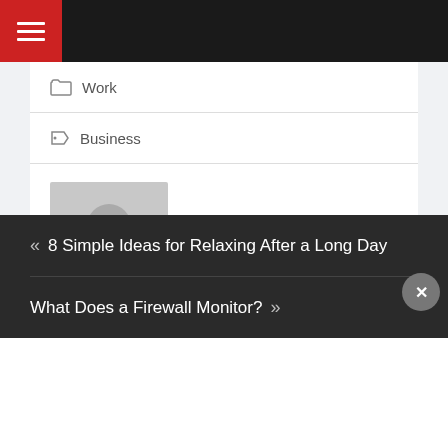Menu navigation bar with hamburger icon
Work
Business
Written by Article Editor
« 8 Simple Ideas for Relaxing After a Long Day
What Does a Firewall Monitor? »